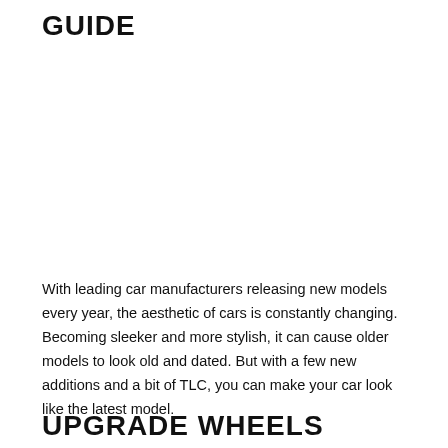GUIDE
With leading car manufacturers releasing new models every year, the aesthetic of cars is constantly changing. Becoming sleeker and more stylish, it can cause older models to look old and dated. But with a few new additions and a bit of TLC, you can make your car look like the latest model.
UPGRADE WHEELS